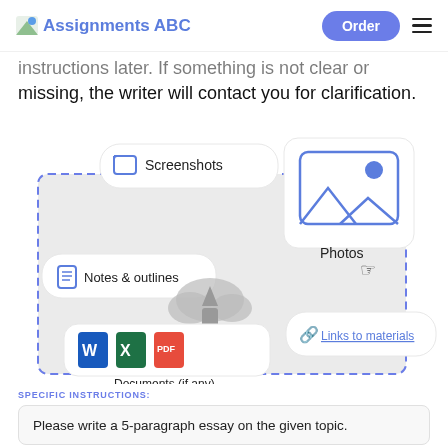Assignments ABC | Order
instructions later. If something is not clear or missing, the writer will contact you for clarification.
[Figure (infographic): Infographic showing file upload types: Screenshots, Photos, Notes & outlines, Documents (if any) with Word/Excel/PDF icons, Links to materials, and a cloud upload icon in center.]
SPECIFIC INSTRUCTIONS:
Please write a 5-paragraph essay on the given topic.